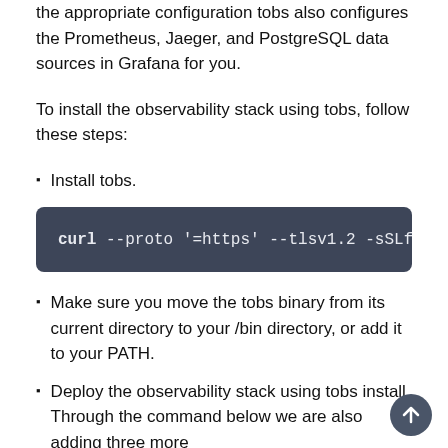the appropriate configuration tobs also configures the Prometheus, Jaeger, and PostgreSQL data sources in Grafana for you.
To install the observability stack using tobs, follow these steps:
Install tobs.
curl --proto '=https' --tlsv1.2 -sSLf https://t
Make sure you move the tobs binary from its current directory to your /bin directory, or add it to your PATH.
Deploy the observability stack using tobs install. Through the command below we are also adding three more